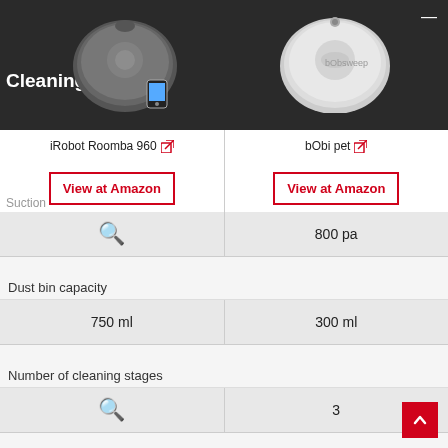[Figure (photo): iRobot Roomba 960 robot vacuum cleaner (dark gray) with a phone showing the app]
[Figure (photo): bObi pet robot vacuum cleaner (silver/light gray circular device)]
iRobot Roomba 960 ↗
bObi pet ↗
View at Amazon
View at Amazon
Suction
| iRobot Roomba 960 | bObi pet |
| --- | --- |
| 🔍 | 800 pa |
| Dust bin capacity | Dust bin capacity |
| 750 ml | 300 ml |
| Number of cleaning stages | Number of cleaning stages |
| 🔍 | 3 |
| Using area | Using area |
| 1500 square feet | 1000 square feet |